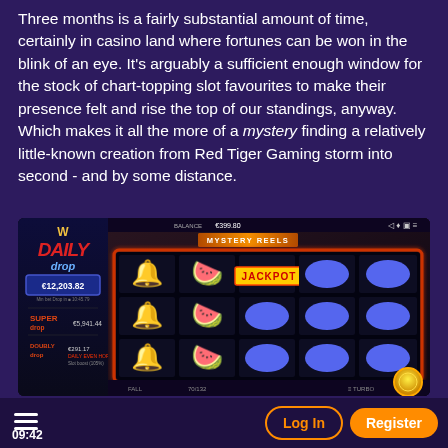Three months is a fairly substantial amount of time, certainly in casino land where fortunes can be won in the blink of an eye. It's arguably a sufficient enough window for the stock of chart-topping slot favourites to make their presence felt and rise the top of our standings, anyway. Which makes it all the more of a mystery finding a relatively little-known creation from Red Tiger Gaming storm into second - and by some distance.
[Figure (screenshot): Screenshot of a casino slot game called Mystery Reels from Red Tiger Gaming. Left side shows a Daily Drop jackpot panel with €12,203.82, Super drop €5,941.44, Doubly drop €291.17. Right side shows the slot game reels with bells, watermelons, and blue oval symbols, with a JACKPOT overlay visible.]
09:42    Log In    Register